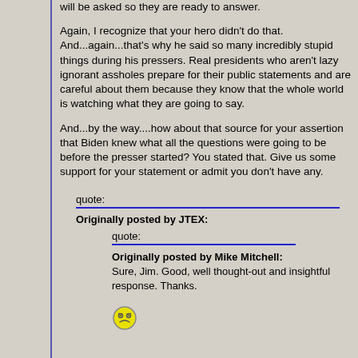will be asked so they are ready to answer.
Again, I recognize that your hero didn't do that. And...again...that's why he said so many incredibly stupid things during his pressers. Real presidents who aren't lazy ignorant assholes prepare for their public statements and are careful about them because they know that the whole world is watching what they are going to say.
And...by the way....how about that source for your assertion that Biden knew what all the questions were going to be before the presser started? You stated that. Give us some support for your statement or admit you don't have any.
quote:
Originally posted by JTEX:
  quote:
  Originally posted by Mike Mitchell:
  Sure, Jim. Good, well thought-out and insightful response. Thanks.